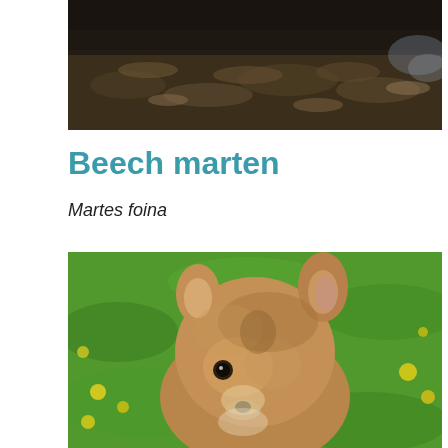[Figure (photo): Close-up photo of a beech marten among dried leaves and natural debris, dark animal fur visible at top]
Beech marten
Martes foina
[Figure (photo): Close-up portrait of a young fox cub or similar animal with brown fur, large ears, and dark eyes, set against a green grass background with yellow flowers]